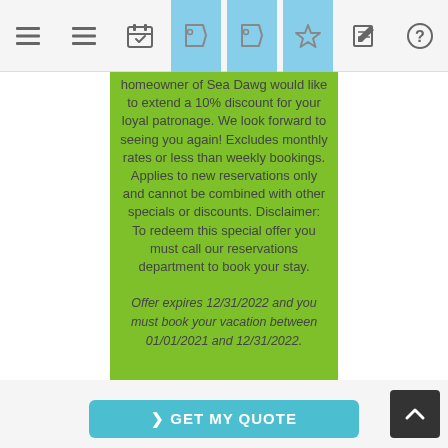[Figure (screenshot): Navigation toolbar with icons: hamburger menu, list, calendar/checklist, two tag/label icons (highlighted in light blue), star, edit, and help icons]
homeowner of Sea Dawg would like to extend a 10% discount for your loyal patronage. We look forward to seeing you again! Excludes monthly rates or less than weekly bookings. Applies to new reservations only and cannot be combined with other specials or discounts. Disclaimer: To redeem this special offer you must call our reservations department to book your stay.
Offer expires 12/31/2022 and you must book your vacation between 01/01/2021 and 12/31/2022.
[Figure (screenshot): GET MY QUOTE button in teal/cyan color and a dark up-arrow scroll button]